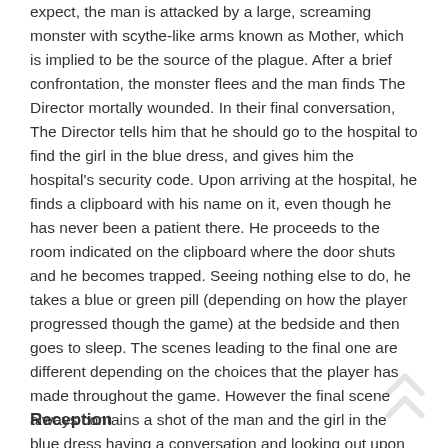expect, the man is attacked by a large, screaming monster with scythe-like arms known as Mother, which is implied to be the source of the plague. After a brief confrontation, the monster flees and the man finds The Director mortally wounded. In their final conversation, The Director tells him that he should go to the hospital to find the girl in the blue dress, and gives him the hospital's security code. Upon arriving at the hospital, he finds a clipboard with his name on it, even though he has never been a patient there. He proceeds to the room indicated on the clipboard where the door shuts and he becomes trapped. Seeing nothing else to do, he takes a blue or green pill (depending on how the player progressed though the game) at the bedside and then goes to sleep. The scenes leading to the final one are different depending on the choices that the player has made throughout the game. However the final scene always contains a shot of the man and the girl in the blue dress having a conversation and looking out upon the city.
Reception